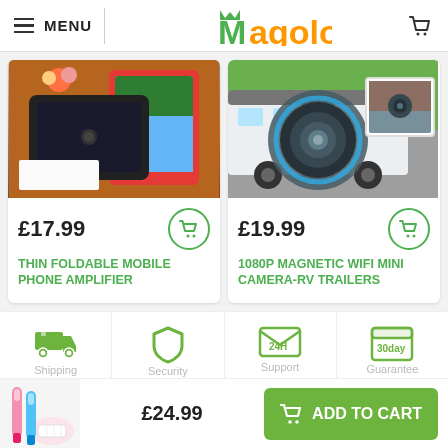[Figure (screenshot): Magoloft e-commerce website header with menu, logo, and cart icon]
[Figure (photo): Product image: Thin Foldable Mobile Phone Amplifier - black tablet/phone amplifier on desk with red tablet]
£17.99
THIN FOLDABLE MOBILE PHONE AMPLIFIER
[Figure (photo): Product image: 1080P Magnetic WiFi Mini Camera-RV Trailers - camera mounted on RV trailer]
£19.99
1080P MAGNETIC WIFI MINI CAMERA-RV TRAILERS
[Figure (infographic): Feature icons: Shipping truck, Security shield, 24H Support, 30-day Guarantee]
Shipping
Security
Support
Guarantee
[Figure (photo): Electric teeth whitening device product thumbnail in bottom bar]
£24.99
ADD TO CART